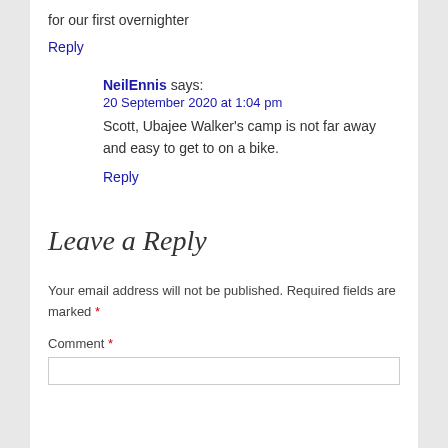for our first overnighter
Reply
NeilEnnis says:
20 September 2020 at 1:04 pm
Scott, Ubajee Walker's camp is not far away and easy to get to on a bike.
Reply
Leave a Reply
Your email address will not be published. Required fields are marked *
Comment *